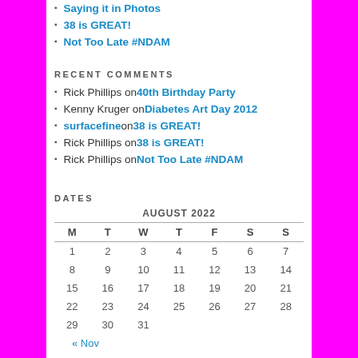Saying it in Photos
38 is GREAT!
Not Too Late #NDAM
RECENT COMMENTS
Rick Phillips on 40th Birthday Party
Kenny Kruger on Diabetes Art Day 2012
surfacefine on 38 is GREAT!
Rick Phillips on 38 is GREAT!
Rick Phillips on Not Too Late #NDAM
DATES
| M | T | W | T | F | S | S |
| --- | --- | --- | --- | --- | --- | --- |
| 1 | 2 | 3 | 4 | 5 | 6 | 7 |
| 8 | 9 | 10 | 11 | 12 | 13 | 14 |
| 15 | 16 | 17 | 18 | 19 | 20 | 21 |
| 22 | 23 | 24 | 25 | 26 | 27 | 28 |
| 29 | 30 | 31 |  |  |  |  |
« Nov